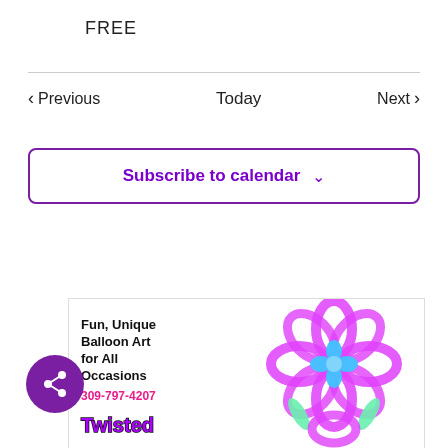FREE
< Previous
Today
Next >
Subscribe to calendar ∨
[Figure (infographic): Advertisement for balloon art business: Fun, Unique Balloon Art for All Occasions, phone 309-797-4207, with colorful balloon flower illustration and logo text Twisted]
[Figure (other): Purple circular share button with network/share icon]